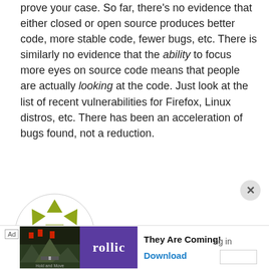prove your case. So far, there's no evidence that either closed or open source produces better code, more stable code, fewer bugs, etc. There is similarly no evidence that the ability to focus more eyes on source code means that people are actually looking at the code. Just look at the list of recent vulnerabilities for Firefox, Linux distros, etc. There has been an acceleration of bugs found, not a reduction.
2006-08-24 5:34 AM
Shane
Trust me, people do look. And they even send in patches out of the blue. And eyes do watch commit messages. I've had
[Figure (logo): Decorative avatar/logo with olive green geometric arrow pattern arranged in a circular shape]
They Are Coming!
Download